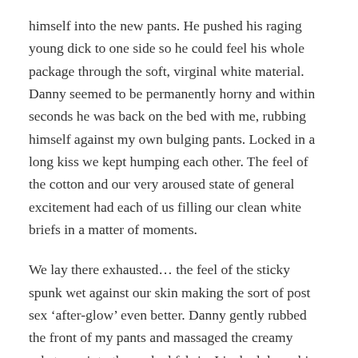himself into the new pants. He pushed his raging young dick to one side so he could feel his whole package through the soft, virginal white material. Danny seemed to be permanently horny and within seconds he was back on the bed with me, rubbing himself against my own bulging pants. Locked in a long kiss we kept humping each other. The feel of the cotton and our very aroused state of general excitement had each of us filling our clean white briefs in a matter of moments.
We lay there exhausted… the feel of the sticky spunk wet against our skin making the sort of post sex ‘after-glow’ even better. Danny gently rubbed the front of my pants and massaged the creamy substance into the soaked fabric. I inched down his body and wrapped my mouth around his shrunken knob and sucked his mess through the cotton. Soon it was time to go to the gym, so we each pulled on a pair of shorts over our damp pants and set off.